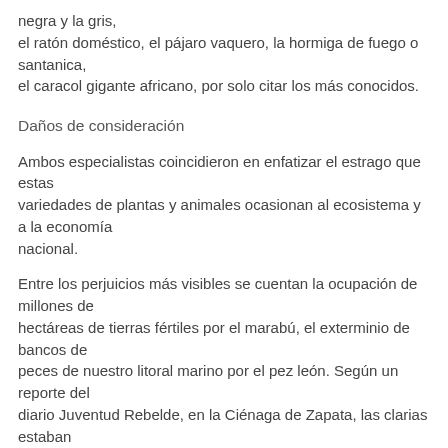negra y la gris,
el ratón doméstico, el pájaro vaquero, la hormiga de fuego o santanica,
el caracol gigante africano, por solo citar los más conocidos.
Daños de consideración
Ambos especialistas coincidieron en enfatizar el estrago que estas variedades de plantas y animales ocasionan al ecosistema y a la economía nacional.
Entre los perjuicios más visibles se cuentan la ocupación de millones de hectáreas de tierras fértiles por el marabú, el exterminio de bancos de peces de nuestro litoral marino por el pez león. Según un reporte del diario Juventud Rebelde, en la Ciénaga de Zapata, las clarias estaban ocasionando daños a especies casi prehistóricas y